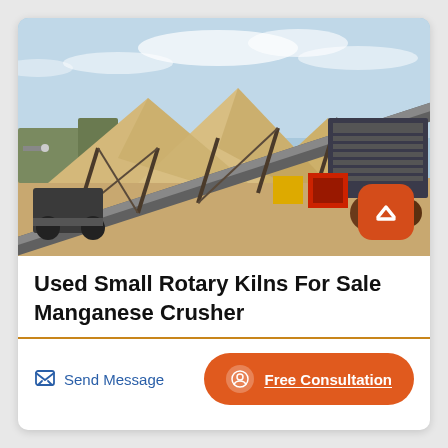[Figure (photo): Industrial conveyor belt equipment at a sand/aggregate quarry site with large piles of sand/gravel and machinery including conveyor belts and screening equipment under a blue sky.]
Used Small Rotary Kilns For Sale Manganese Crusher
Send Message
Free Consultation